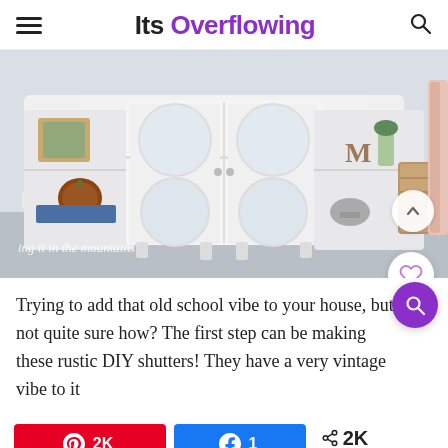Its Overflowing
[Figure (photo): A white painted vintage cabinet with round glass doors, open shelves displaying a framed photo, pumpkin, decorative letters M, flowers in vase, and wicker basket. Watermark reads 'ing it in the mountains'.]
Trying to add that old school vibe to your house, but not quite sure how? The first step can be making these rustic DIY shutters! They have a very vintage vibe to it
[Figure (other): Social share buttons: Pinterest 2K, Facebook 1, Share 2K SHARES]